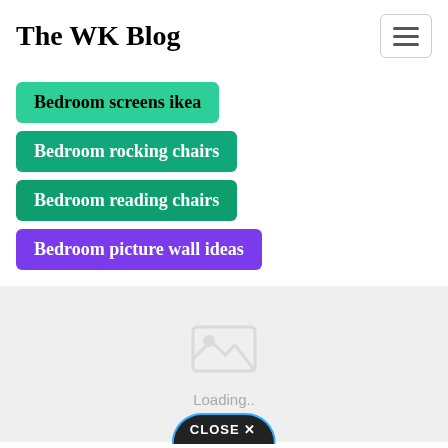The WK Blog
Bedroom screens ikea
Bedroom rocking chairs
Bedroom reading chairs
Bedroom picture wall ideas
[Figure (illustration): Image placeholder with mountain/photo icon and Loading.. text, with a CLOSE X button at the bottom]